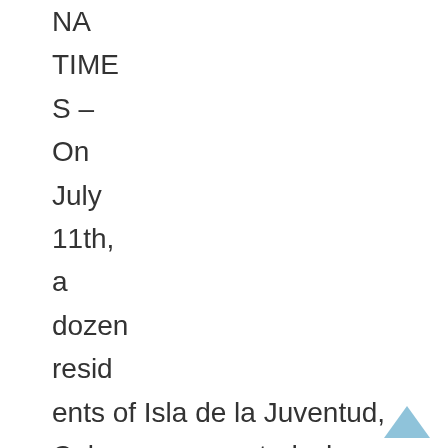NA TIME S – On July 11th, a dozen resid ents of Isla de la Juventud, Cuba were arrested when they began a demonstration in the main park of Nueva Gerona. The civic action was called by the Pinero Autonomous Party (PAP), to which